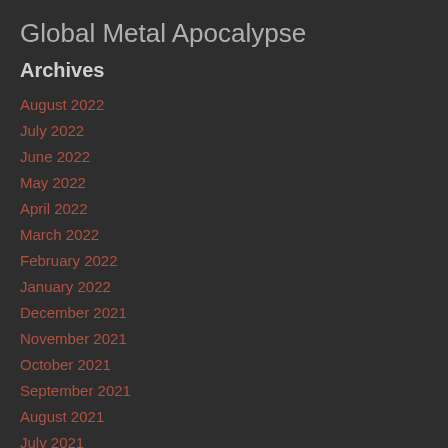Global Metal Apocalypse
Archives
August 2022
July 2022
June 2022
May 2022
April 2022
March 2022
February 2022
January 2022
December 2021
November 2021
October 2021
September 2021
August 2021
July 2021
June 2021
May 2021
April 2021
March 2021